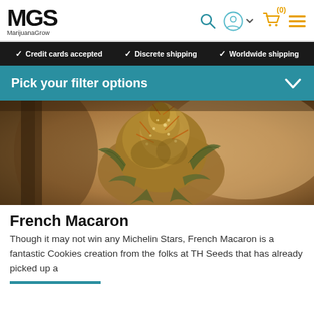MGS MarijuanaGrow
✓ Credit cards accepted  ✓ Discrete shipping  ✓ Worldwide shipping
Pick your filter options
[Figure (photo): Close-up photograph of a cannabis bud (French Macaron strain) with golden-sepia tones against a blurred background]
French Macaron
Though it may not win any Michelin Stars, French Macaron is a fantastic Cookies creation from the folks at TH Seeds that has already picked up a